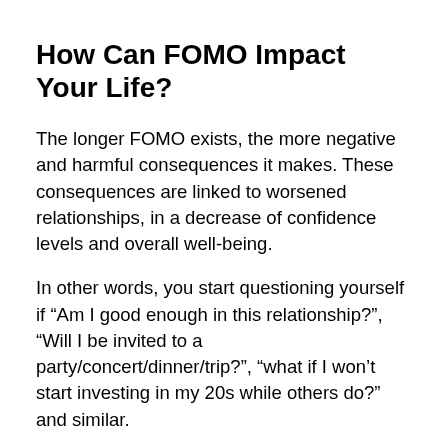How Can FOMO Impact Your Life?
The longer FOMO exists, the more negative and harmful consequences it makes. These consequences are linked to worsened relationships, in a decrease of confidence levels and overall well-being.
In other words, you start questioning yourself if “Am I good enough in this relationship?”, “Will I be invited to a party/concert/dinner/trip?”, “what if I won’t start investing in my 20s while others do?” and similar.
However, FOMO can impact you both in negative